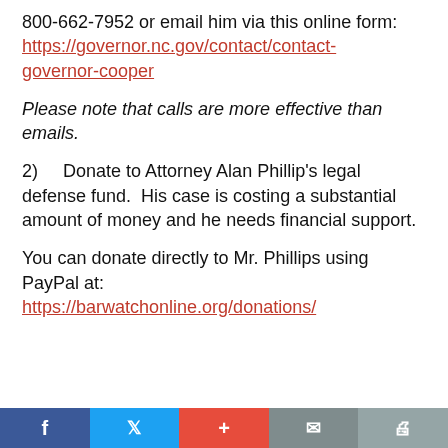800-662-7952 or email him via this online form: https://governor.nc.gov/contact/contact-governor-cooper
Please note that calls are more effective than emails.
2)    Donate to Attorney Alan Phillip's legal defense fund.  His case is costing a substantial amount of money and he needs financial support.
You can donate directly to Mr. Phillips using PayPal at: https://barwatchonline.org/donations/